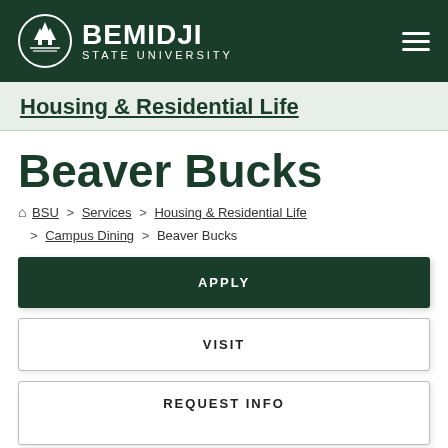Bemidji State University
Housing & Residential Life
Beaver Bucks
BSU > Services > Housing & Residential Life > Campus Dining > Beaver Bucks
APPLY
VISIT
REQUEST INFO